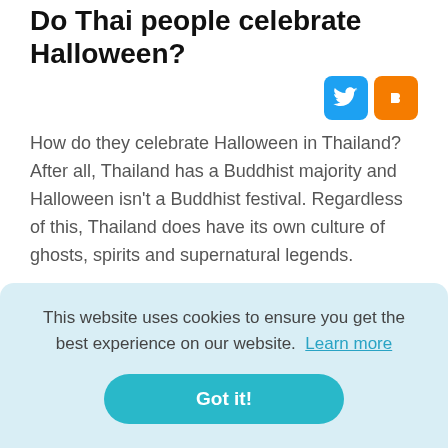Do Thai people celebrate Halloween?
How do they celebrate Halloween in Thailand? After all, Thailand has a Buddhist majority and Halloween isn't a Buddhist festival. Regardless of this, Thailand does have its own culture of ghosts, spirits and supernatural legends.
This website uses cookies to ensure you get the best experience on our website. Learn more
Got it!